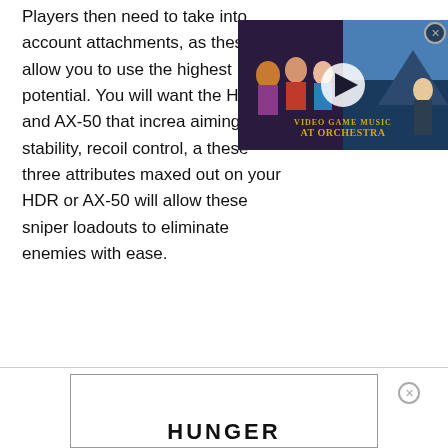Players then need to take into account attachments, as these will allow you to use the [weapon at its] highest potential. You will want [to focus on] the HDR and AX-50 that increa[se] aiming stability, recoil control, a[nd range. Having] these three attributes maxed out on your HDR or AX-50 will allow these sniper loadouts to eliminate enemies with ease.
[Figure (other): Video game music advertisement overlay showing anime-style characters with a play button triangle in the center, labeled 'VIDEO GAME MUSIC AT ORCHESTRA' in gold text on dark background. Has a close (X) button in top right corner.]
[Figure (other): Bottom banner advertisement with a white rectangle bordered in gray. Partially visible text 'HUNGER' in large bold black letters at the bottom. Has a circular close (X) button to the right.]